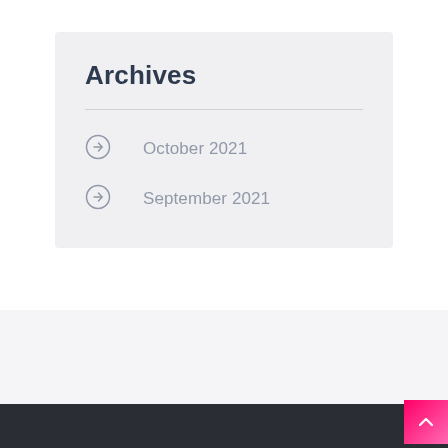Archives
October 2021
September 2021